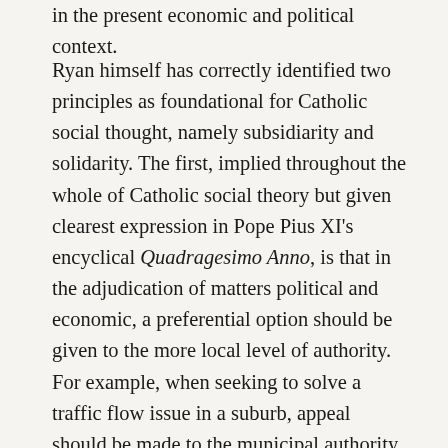in the present economic and political context.
Ryan himself has correctly identified two principles as foundational for Catholic social thought, namely subsidiarity and solidarity. The first, implied throughout the whole of Catholic social theory but given clearest expression in Pope Pius XI's encyclical Quadragesimo Anno, is that in the adjudication of matters political and economic, a preferential option should be given to the more local level of authority. For example, when seeking to solve a traffic flow issue in a suburb, appeal should be made to the municipal authority and not to the governor, even less to the Congress or the President. Only when a satisfactory solution is not achieved by the local government should one move to the next highest level of authority, etc. This principle by no means calls into